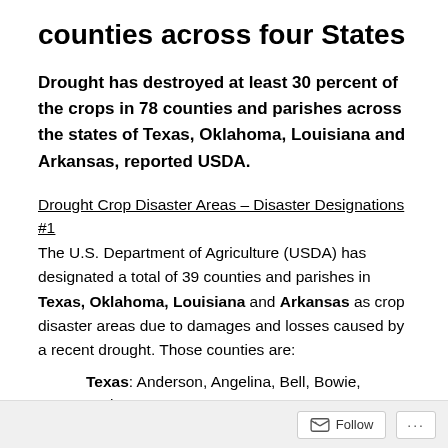counties across four States
Drought has destroyed at least 30 percent of the crops in 78 counties and parishes across the states of Texas, Oklahoma, Louisiana and Arkansas, reported USDA.
Drought Crop Disaster Areas – Disaster Designations #1
The U.S. Department of Agriculture (USDA) has designated a total of 39 counties and parishes in Texas, Oklahoma, Louisiana and Arkansas as crop disaster areas due to damages and losses caused by a recent drought. Those counties are:
Texas: Anderson, Angelina, Bell, Bowie, Burleson